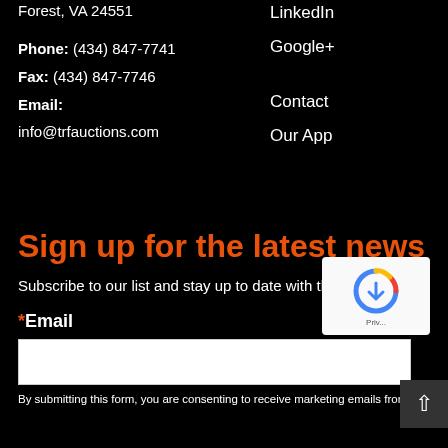Forest, VA 24551
Phone: (434) 847-7741
Fax: (434) 847-7746
Email:
info@trfauctions.com
LinkedIn
Google+
Contact
Our App
Sign up for the latest news
Subscribe to our list and stay up to date with the latest news.
*Email
By submitting this form, you are consenting to receive marketing emails from: